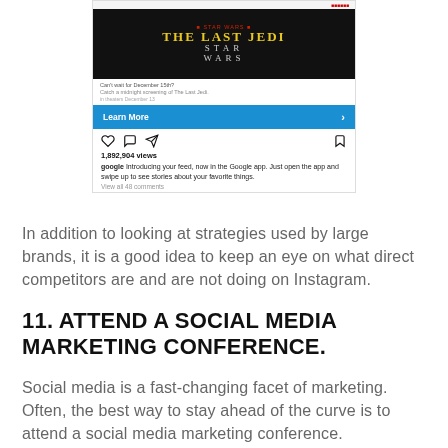[Figure (screenshot): Instagram-style post screenshot showing a Star Wars: The Last Jedi promotional image with a 'Learn More' call-to-action button, post icons (heart, comment, share, bookmark), view count '1,892,904 views', caption from Google about introducing their feed, and 'View all 48 comments' link.]
In addition to looking at strategies used by large brands, it is a good idea to keep an eye on what direct competitors are and are not doing on Instagram.
11. ATTEND A SOCIAL MEDIA MARKETING CONFERENCE.
Social media is a fast-changing facet of marketing. Often, the best way to stay ahead of the curve is to attend a social media marketing conference.